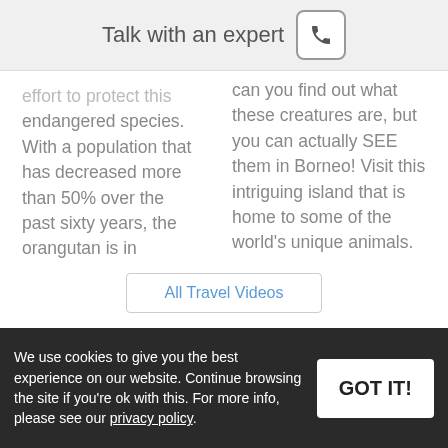Talk with an expert
effort to protect this endangered species. With a population that has decreased more than 50% over the past sixty years, the orangutan is in desperate need of protection.
can you find out what these creatures are, but you can actually SEE them in Borneo! Visit this intriguing island that is home to some of the world's unique animals. Truly unique wildlife encounters are sure to await you on a trip to Borneo.
All Travel Videos
We use cookies to give you the best experience on our website. Continue browsing the site if you're ok with this. For more info, please see our privacy policy.